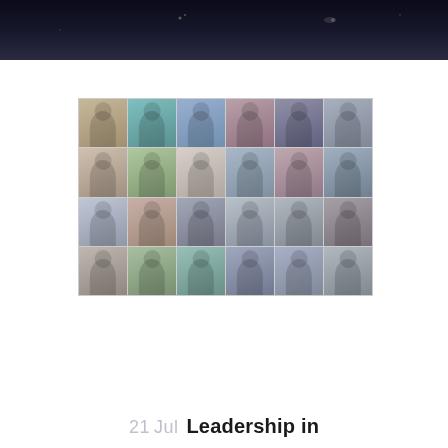[Figure (photo): Dark banner/header background at top of page with subtle light flares on black/dark navy background]
[Figure (photo): A 6×4 grid of professional headshot photos showing 24 individuals (men and women) in a collage format]
21 Jul Leadership in